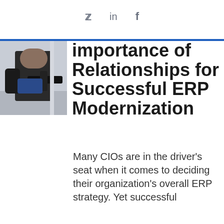🐦  in  f
[Figure (photo): Person in dark clothing sitting, partial view, appears to be in an office or gym setting]
importance of Relationships for Successful ERP Modernization
Many CIOs are in the driver's seat when it comes to deciding their organization's overall ERP strategy. Yet successful